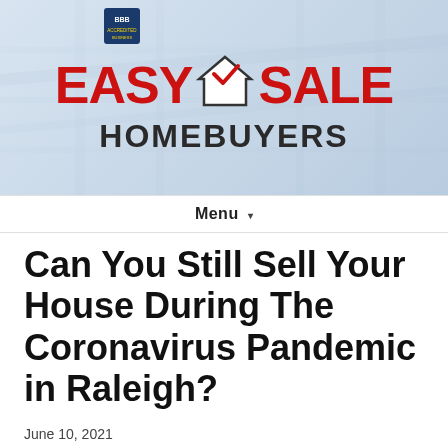[Figure (logo): Easy Sale Homebuyers logo with BBB badge, red EASY SALE text with house icon, dark HOMEBUYERS text]
Menu ▾
Can You Still Sell Your House During The Coronavirus Pandemic in Raleigh?
June 10, 2021
By R. J. Ward